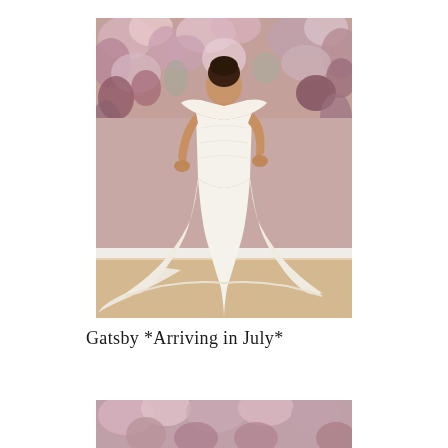[Figure (photo): A woman wearing a white off-shoulder mermaid wedding dress with lace detailing and a train, posed in front of a pink floral backdrop in a bridal studio setting.]
Gatsby *Arriving in July*
[Figure (photo): Partial view of another wedding dress photo, cropped at the bottom of the page, showing floral backdrop.]